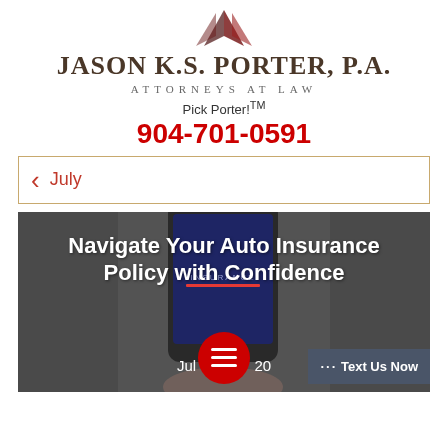[Figure (logo): Jason K.S. Porter P.A. law firm logo with dark red chevron/arrow icon above the firm name]
JASON K.S. PORTER, P.A. ATTORNEYS AT LAW
Pick Porter!™
904-701-0591
‹ July
[Figure (photo): Person holding a smartphone showing an insurance app, with overlay text 'Navigate Your Auto Insurance Policy with Confidence' and date 'Jul 20']
Navigate Your Auto Insurance Policy with Confidence
Jul [menu] 20